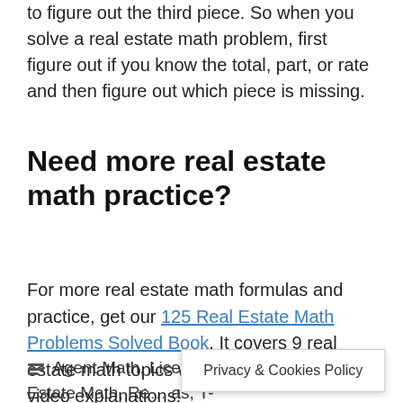to figure out the third piece. So when you solve a real estate math problem, first figure out if you know the total, part, or rate and then figure out which piece is missing.
Need more real estate math practice?
For more real estate math formulas and practice, get our 125 Real Estate Math Problems Solved Book. It covers 9 real estate math topics with full solutions and video explanations!
Agent Math, Licensing Exam Prep, Real Estate Math, Re... as, T-
Privacy & Cookies Policy